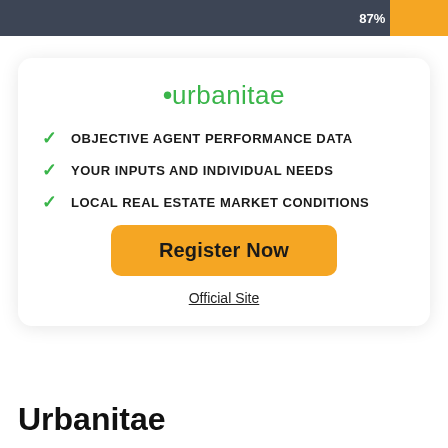[Figure (infographic): Progress bar showing 87% completion, dark grey fill with orange/yellow remainder section on the right, '87%' label in white]
[Figure (infographic): White rounded card containing Urbanitae logo in green, three green checkmark bullet points listing features, a yellow 'Register Now' button, and an 'Official Site' underlined link]
Urbanitae